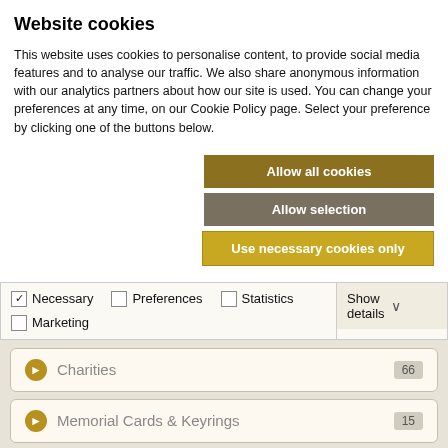Website cookies
This website uses cookies to personalise content, to provide social media features and to analyse our traffic. We also share anonymous information with our analytics partners about how our site is used. You can change your preferences at any time, on our Cookie Policy page. Select your preference by clicking one of the buttons below.
Allow all cookies
Allow selection
Use necessary cookies only
| Options | Show details |
| --- | --- |
| ✓ Necessary  ☐ Preferences  ☐ Statistics  ☐ Marketing | Show details ∨ |
Charities 66
Memorial Cards & Keyrings 15
Funeral Directors 7